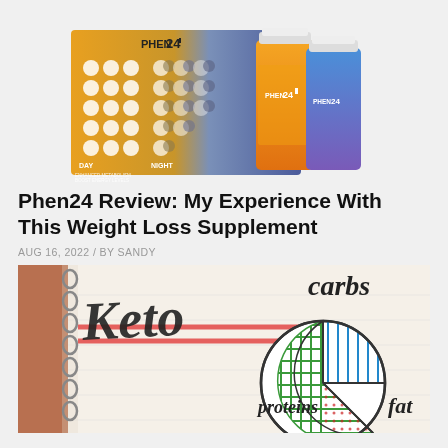[Figure (photo): Phen24 product photo showing two supplement bottles (orange day formula and blue/purple night formula) alongside a branded calendar/schedule card with day and night icons. Text on card reads PHEN24 with DAY and NIGHT sections.]
Phen24 Review: My Experience With This Weight Loss Supplement
AUG 16, 2022 / BY SANDY
[Figure (photo): Close-up photo of a spiral notebook with handwritten keto diet notes showing 'Keto' written large with colored markers, and a hand-drawn pie chart showing macronutrient sections labeled 'carbs', 'proteins', and 'fat' in different colors (blue, green crosshatch, and orange dots).]